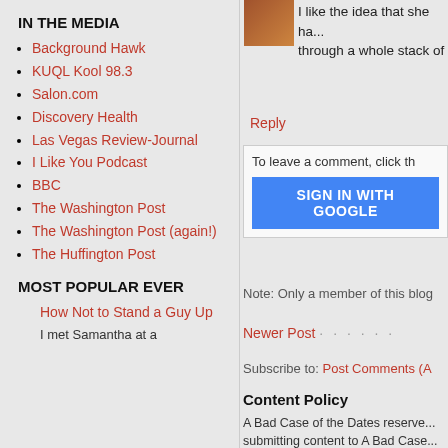IN THE MEDIA
Background Hawk
KUQL Kool 98.3
Salon.com
Discovery Health
Las Vegas Review-Journal
I Like You Podcast
BBC
The Washington Post
The Washington Post (again!)
The Huffington Post
MOST POPULAR EVER
How Not to Stand a Guy Up
I met Samantha at a
I like the idea that she ha... through a whole stack of
Reply
To leave a comment, click th
SIGN IN WITH GOOGLE
Note: Only a member of this blog
Newer Post
Subscribe to: Post Comments (A
Content Policy
A Bad Case of the Dates reserve... submitting content to A Bad Case... edit, and/or republish your conte... down from their home planet to h
A Bad Case of the Dates is not r